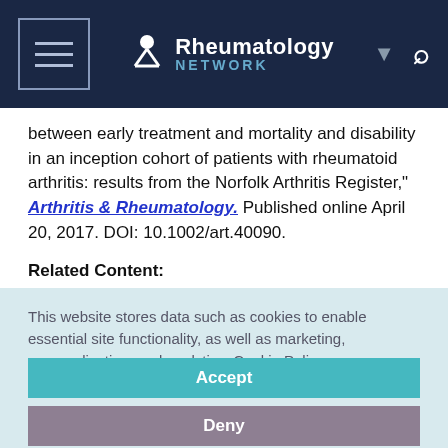Rheumatology Network
between early treatment and mortality and disability in an inception cohort of patients with rheumatoid arthritis: results from the Norfolk Arthritis Register," Arthritis & Rheumatology. Published online April 20, 2017. DOI: 10.1002/art.40090.
Related Content:
Rheumatoid Arthritis
This website stores data such as cookies to enable essential site functionality, as well as marketing, personalization, and analytics. Cookie Policy
Accept
Deny